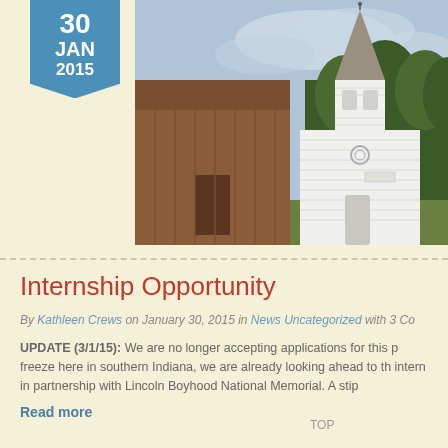30 JAN 2015
[Figure (photo): A white church building with a steeple and a brown wooden structure to the left, surrounded by trees under a cloudy sky]
Internship Opportunity
By Kathleen Crews on January 30, 2015 in News Uncategorized with 3 Co
UPDATE (3/1/15): We are no longer accepting applications for this p freeze here in southern Indiana, we are already looking ahead to th intern in partnership with Lincoln Boyhood National Memorial. A stip
Read more